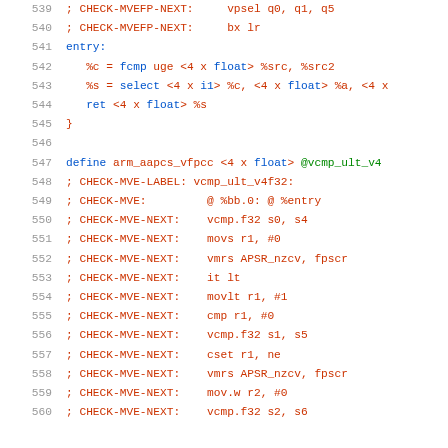539: ; CHECK-MVEFP-NEXT:    vpsel q0, q1, q5
540: ; CHECK-MVEFP-NEXT:    bx lr
541: entry:
542:   %c = fcmp uge <4 x float> %src, %src2
543:   %s = select <4 x i1> %c, <4 x float> %a, <4 x
544:   ret <4 x float> %s
545: }
546:
547: define arm_aapcs_vfpcc <4 x float> @vcmp_ult_v4
548: ; CHECK-MVE-LABEL: vcmp_ult_v4f32:
549: ; CHECK-MVE:        @ %bb.0: @ %entry
550: ; CHECK-MVE-NEXT:   vcmp.f32 s0, s4
551: ; CHECK-MVE-NEXT:   movs r1, #0
552: ; CHECK-MVE-NEXT:   vmrs APSR_nzcv, fpscr
553: ; CHECK-MVE-NEXT:   it lt
554: ; CHECK-MVE-NEXT:   movlt r1, #1
555: ; CHECK-MVE-NEXT:   cmp r1, #0
556: ; CHECK-MVE-NEXT:   vcmp.f32 s1, s5
557: ; CHECK-MVE-NEXT:   cset r1, ne
558: ; CHECK-MVE-NEXT:   vmrs APSR_nzcv, fpscr
559: ; CHECK-MVE-NEXT:   mov.w r2, #0
560: ; CHECK-MVE-NEXT:   vcmp.f32 s2, s6